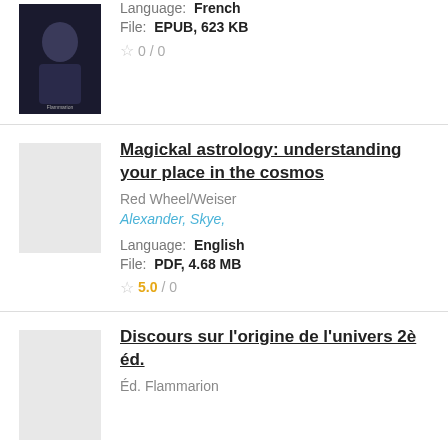Language: French
File: EPUB, 623 KB
0 / 0
Magickal astrology: understanding your place in the cosmos
Red Wheel/Weiser
Alexander, Skye,
Language: English
File: PDF, 4.68 MB
5.0 / 0
Discours sur l'origine de l'univers 2è éd.
Éd. Flammarion